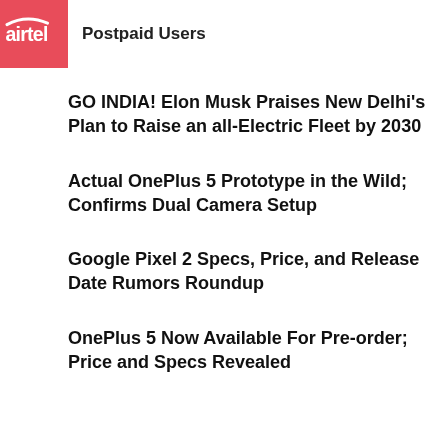[Figure (logo): Airtel logo – red background with white airtel wordmark]
Postpaid Users
GO INDIA! Elon Musk Praises New Delhi's Plan to Raise an all-Electric Fleet by 2030
Actual OnePlus 5 Prototype in the Wild; Confirms Dual Camera Setup
Google Pixel 2 Specs, Price, and Release Date Rumors Roundup
OnePlus 5 Now Available For Pre-order; Price and Specs Revealed